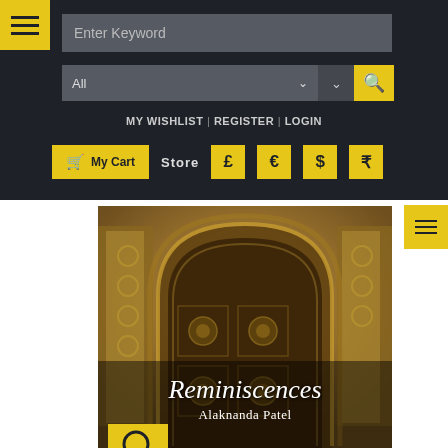Website navigation header with menu, search bar, dropdown, wishlist/register/login links, cart button, Store currency selectors (£ € $ ₹)
[Figure (screenshot): Book cover for 'Reminiscences' by Alaknanda Patel, featuring an ornate carved stone archway/doorway in sepia tones with the title in italic white text and a yellow search icon button at bottom left]